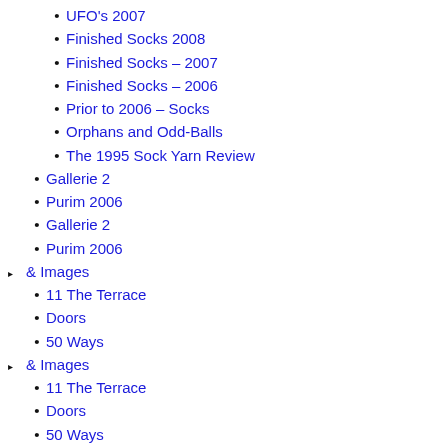UFO's 2007
Finished Socks 2008
Finished Socks – 2007
Finished Socks – 2006
Prior to 2006 – Socks
Orphans and Odd-Balls
The 1995 Sock Yarn Review
Gallerie 2
Purim 2006
Gallerie 2
Purim 2006
& Images
11 The Terrace
Doors
50 Ways
& Images
11 The Terrace
Doors
50 Ways
Kuwait Diary
Diary Entries
A – 25 May 03 – The Youngest Yet